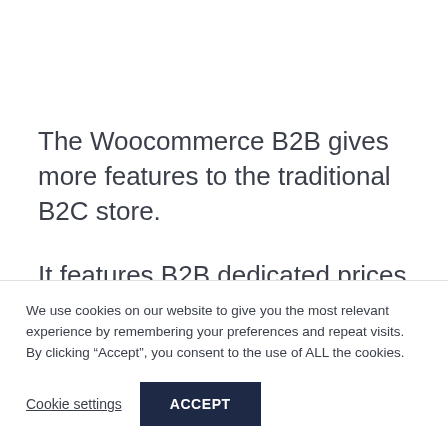The Woocommerce B2B gives more features to the traditional B2C store.
It features B2B dedicated prices, prices by quantity, shipping control methods, VAT support, bar code management and more.
We use cookies on our website to give you the most relevant experience by remembering your preferences and repeat visits. By clicking “Accept”, you consent to the use of ALL the cookies.
Cookie settings
ACCEPT